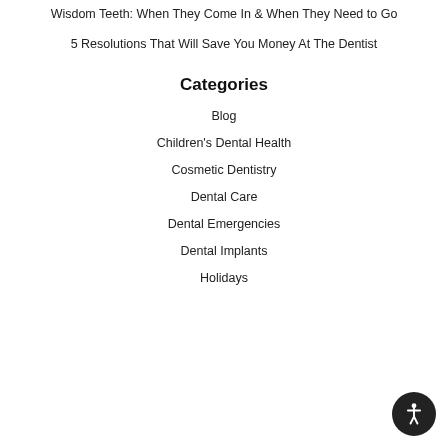Wisdom Teeth: When They Come In & When They Need to Go
5 Resolutions That Will Save You Money At The Dentist
Categories
Blog
Children's Dental Health
Cosmetic Dentistry
Dental Care
Dental Emergencies
Dental Implants
Holidays